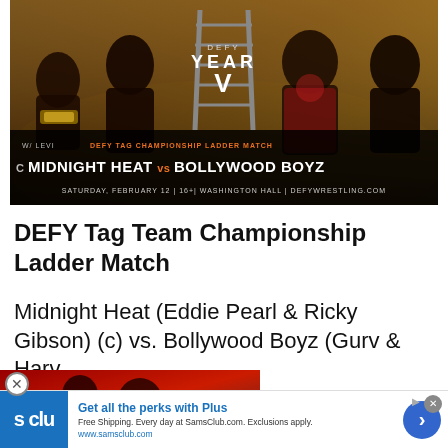[Figure (photo): DEFY Wrestling promotional poster for YEAR V event. Shows wrestlers including Midnight Heat and Bollywood Boyz with a ladder. Text reads: W/ LEVI, DEFY TAG CHAMPIONSHIP LADDER MATCH, C MIDNIGHT HEAT vs BOLLYWOOD BOYZ, SATURDAY, FEBRUARY 12 | 16+| WASHINGTON HALL | DEFYWRESTLING.COM]
DEFY Tag Team Championship Ladder Match
Midnight Heat (Eddie Pearl & Ricky Gibson) (c) vs. Bollywood Boyz (Gurv & Harv
[Figure (photo): Partially visible wrestling photo overlapping the text content from below]
[Figure (screenshot): Advertisement banner for Sam's Club Plus membership. Blue logo with 's clu' visible. Text: Get all the perks with Plus. Free Shipping. Every day at SamsClub.com. Exclusions apply. www.samsclub.com. Blue arrow button on right. Close X button.]